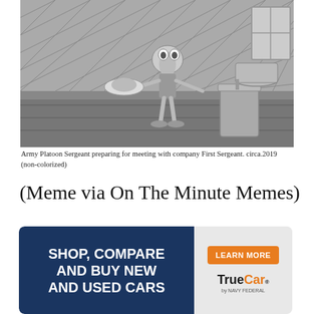[Figure (illustration): Black and white cartoon image of Squidward (from SpongeBob SquarePants) holding what appears to be a brain/object on a plate, standing next to an open trash can, in an interior setting with a window in the background.]
Army Platoon Sergeant preparing for meeting with company First Sergeant. circa.2019 (non-colorized)
(Meme via On The Minute Memes)
The moment you realize military recruiters are now pretending to be Uber drivers and are taking you direct to MEPS
[Figure (infographic): TrueCar by Navy Federal advertisement banner. Dark navy blue background on the left with white bold text reading 'SHOP, COMPARE AND BUY NEW AND USED CARS'. Right side has light gray background with an orange 'LEARN MORE' button and the TrueCar by Navy Federal logo.]